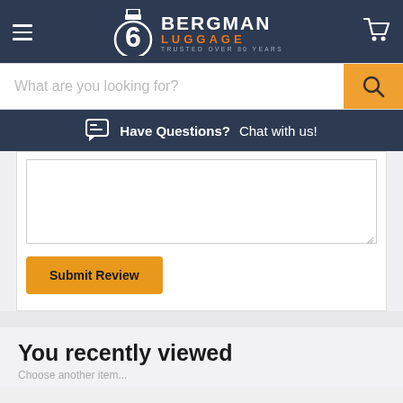[Figure (logo): Bergman Luggage logo with navigation header on dark navy background, including hamburger menu icon on the left and shopping cart icon on the right. Logo shows a stylized B icon and text 'BERGMAN LUGGAGE TRUSTED OVER 80 YEARS'.]
What are you looking for?
Have Questions?  Chat with us!
[Figure (screenshot): Review text area input box, empty, with resize handle in bottom right corner.]
Submit Review
You recently viewed
Choose another item...